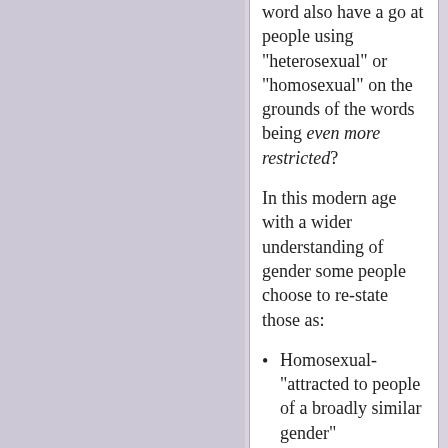word also have a go at people using "heterosexual" or "homosexual" on the grounds of the words being even more restricted?
In this modern age with a wider understanding of gender some people choose to re-state those as:
Homosexual- "attracted to people of a broadly similar gender"
Heterosexual - "attracted to people of a broadly different gender"
In fact many people say there's more than two genders, but if two options are either "similar to me"